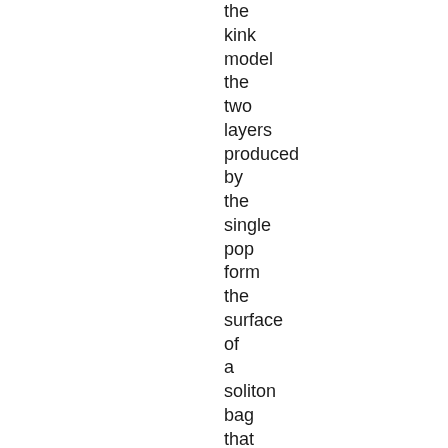the kink model the two layers produced by the single pop form the surface of a soliton bag that increases in size